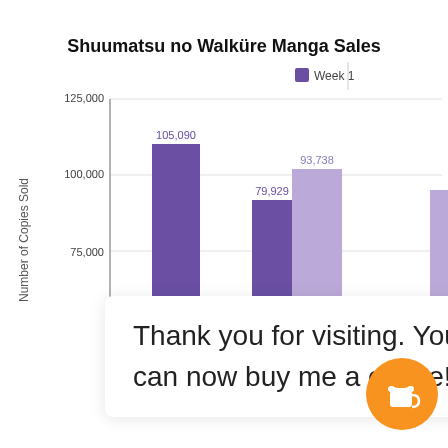[Figure (bar-chart): Shuumatsu no Walküre Manga Sales]
Thank you for visiting. You can now buy me a coffee!